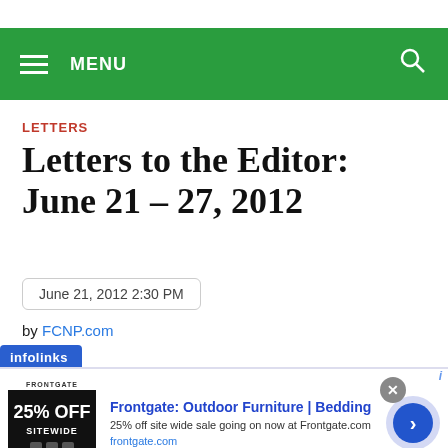MENU
LETTERS
Letters to the Editor: June 21 – 27, 2012
June 21, 2012 2:30 PM
by FCNP.com
[Figure (other): infolinks badge and advertisement banner for Frontgate: Outdoor Furniture | Bedding. 25% off site wide sale going on now at Frontgate.com. frontgate.com]
Frontgate: Outdoor Furniture | Bedding. 25% off site wide sale going on now at Frontgate.com